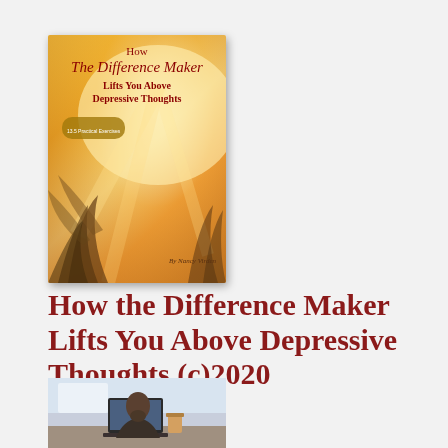[Figure (photo): Book cover of 'How The Difference Maker Lifts You Above Depressive Thoughts' by Nancy Virden, with warm golden/orange sunlight background and nature imagery]
How the Difference Maker Lifts You Above Depressive Thoughts (c)2020
[Figure (photo): Person sitting at a desk working on a laptop computer, partially cropped at bottom of page]